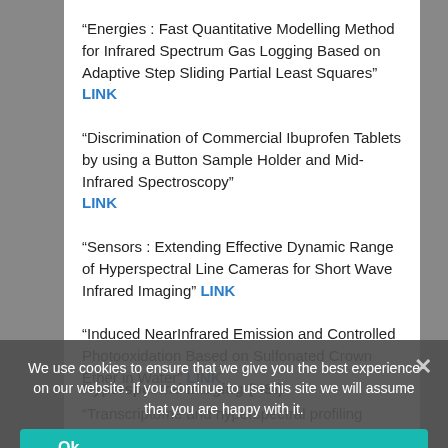“Energies : Fast Quantitative Modelling Method for Infrared Spectrum Gas Logging Based on Adaptive Step Sliding Partial Least Squares” LINK
“Discrimination of Commercial Ibuprofen Tablets by using a Button Sample Holder and Mid-Infrared Spectroscopy” LINK
“Sensors : Extending Effective Dynamic Range of Hyperspectral Line Cameras for Short Wave Infrared Imaging” LINK
“Induced NearInfrared Emission and Controlled Photooxidation Based on Sulfonated Crown Ether in Water” LINK
Hyperspectral Imaging (HSI)
“Transcriptome and hyperspectral profiling allows assessment of phosphorus content status in rice under field conditions” LINK
We use cookies to ensure that we give you the best experience on our website. If you continue to use this site we will assume that you are happy with it.